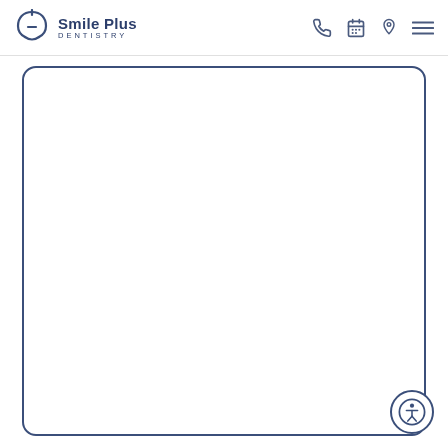Smile Plus Dentistry
[Figure (other): Empty rounded rectangle content box, likely a form or image placeholder on the Smile Plus Dentistry website]
[Figure (other): Accessibility button icon (person in circle) in bottom right corner]